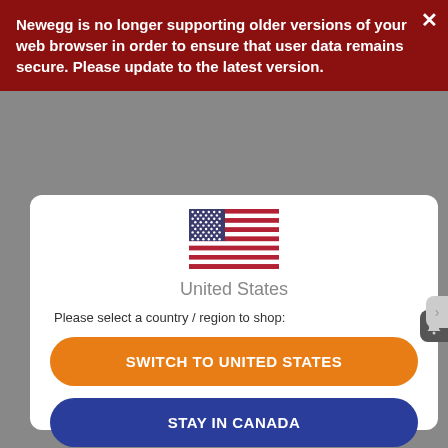Newegg is no longer supporting older versions of your web browser in order to ensure that user data remains secure. Please update to the latest version.
[Figure (illustration): US flag emoji/icon]
United States
Please select a country / region to shop:
SWITCH TO UNITED STATES
STAY IN CANADA
OTHER COUNTRIES / REGIONS